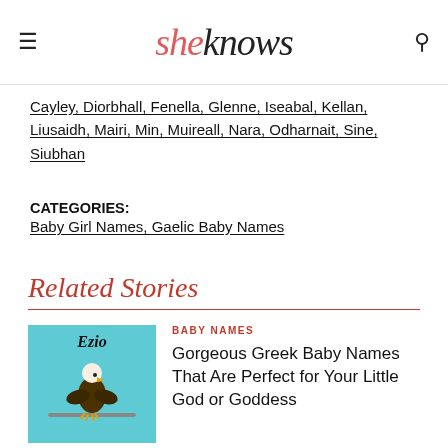sheknows
Cayley, Diorbhall, Fenella, Glenne, Iseabal, Kellan, Liusaidh, Mairi, Min, Muireall, Nara, Odharnait, Sine, Siubhan
CATEGORIES:
Baby Girl Names, Gaelic Baby Names
Related Stories
[Figure (photo): Bald eagle perched on a branch against a teal/light blue background, with italic bold text 'Ezio' above it]
BABY NAMES
Gorgeous Greek Baby Names That Are Perfect for Your Little God or Goddess